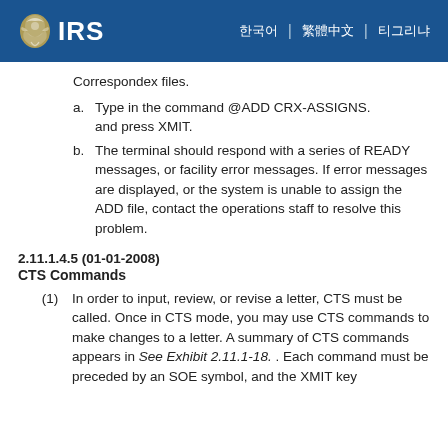IRS
Correspondex files.
a. Type in the command @ADD CRX-ASSIGNS. and press XMIT.
b. The terminal should respond with a series of READY messages, or facility error messages. If error messages are displayed, or the system is unable to assign the ADD file, contact the operations staff to resolve this problem.
2.11.1.4.5 (01-01-2008)
CTS Commands
(1) In order to input, review, or revise a letter, CTS must be called. Once in CTS mode, you may use CTS commands to make changes to a letter. A summary of CTS commands appears in See Exhibit 2.11.1-18. . Each command must be preceded by an SOE symbol, and the XMIT key